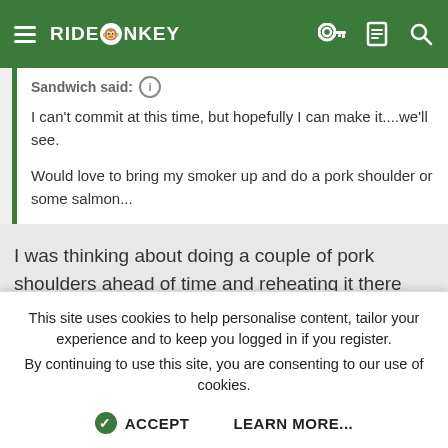RIDEMONKEY
Sandwich said:
I can't commit at this time, but hopefully I can make it....we'll see.

Would love to bring my smoker up and do a pork shoulder or some salmon...
I was thinking about doing a couple of pork shoulders ahead of time and reheating it there and TreeSaw and I talked it over briefly. I've got a fairly large offset that I can fit up to 6 shoulders/butts on at a time if you want to get together for a day of smoke and beer ahead of MF.
Sandwich
This site uses cookies to help personalise content, tailor your experience and to keep you logged in if you register.
By continuing to use this site, you are consenting to our use of cookies.